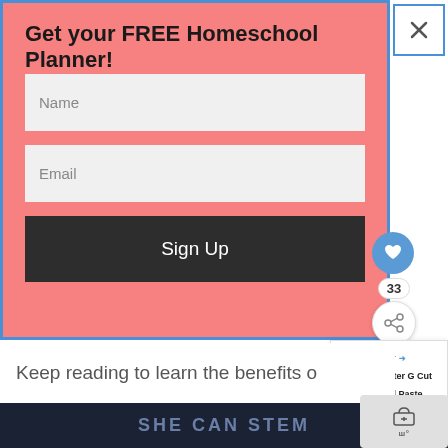Get your FREE Homeschool Planner!
Name
Email
Sign Up
Keep reading to learn the benefits o
SHE CAN STEM